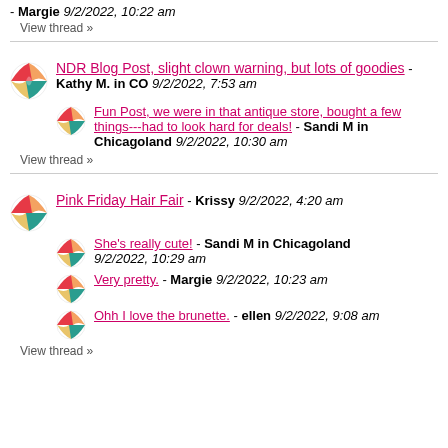- Margie 9/2/2022, 10:22 am
View thread »
NDR Blog Post, slight clown warning, but lots of goodies - Kathy M. in CO 9/2/2022, 7:53 am
Fun Post, we were in that antique store, bought a few things---had to look hard for deals! - Sandi M in Chicagoland 9/2/2022, 10:30 am
View thread »
Pink Friday Hair Fair - Krissy 9/2/2022, 4:20 am
She's really cute! - Sandi M in Chicagoland 9/2/2022, 10:29 am
Very pretty. - Margie 9/2/2022, 10:23 am
Ohh I love the brunette. - ellen 9/2/2022, 9:08 am
View thread »